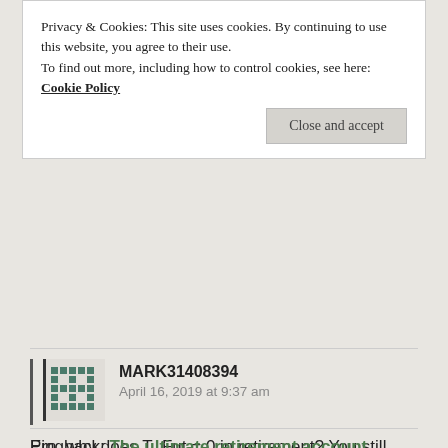Privacy & Cookies: This site uses cookies. By continuing to use this website, you agree to their use.
To find out more, including how to control cookies, see here: Cookie Policy
Close and accept
MARK31408394
April 16, 2019 at 9:37 am
Ern, why does T_Fut = 0 in retirement? You still may have income from investment gains?
Like
Reply
Pingback: The ultimate retirement account